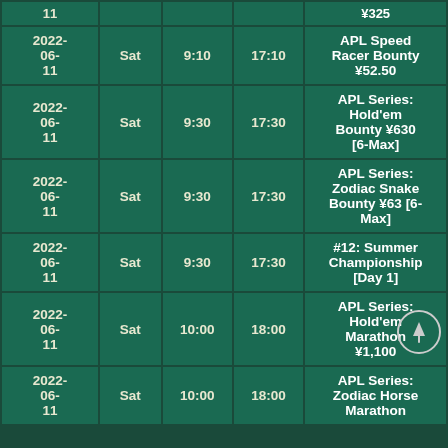| Date | Day | Start | End | Event |
| --- | --- | --- | --- | --- |
| 11 |  |  |  | ¥325 |
| 2022-06-11 | Sat | 9:10 | 17:10 | APL Speed Racer Bounty ¥52.50 |
| 2022-06-11 | Sat | 9:30 | 17:30 | APL Series: Hold'em Bounty ¥630 [6-Max] |
| 2022-06-11 | Sat | 9:30 | 17:30 | APL Series: Zodiac Snake Bounty ¥63 [6-Max] |
| 2022-06-11 | Sat | 9:30 | 17:30 | #12: Summer Championship [Day 1] |
| 2022-06-11 | Sat | 10:00 | 18:00 | APL Series: Hold'em Marathon ¥1,100 |
| 2022-06-11 | Sat | 10:00 | 18:00 | APL Series: Zodiac Horse Marathon |